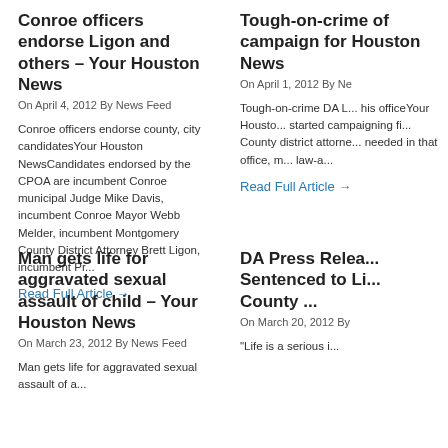Conroe officers endorse Ligon and others – Your Houston News
On April 4, 2012 By News Feed
Conroe officers endorse county, city candidatesYour Houston NewsCandidates endorsed by the CPOA are incumbent Conroe municipal Judge Mike Davis, incumbent Conroe Mayor Webb Melder, incumbent Montgomery County District Attorney Brett Ligon, incumbent Pr...
Read Full Article →
Tough-on-crime of campaign for Houston News
On April 1, 2012 By Ne
Tough-on-crime DA L... his officeYour Housto... started campaigning fi... County district attorne... needed in that office, m... law-a...
Read Full Article →
Man gets life for aggravated sexual assault of child – Your Houston News
On March 23, 2012 By News Feed
DA Press Relea... Sentenced to Li... County ...
On March 20, 2012 By